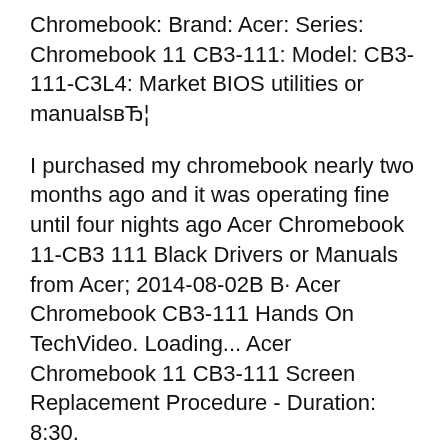Chromebook: Brand: Acer: Series: Chromebook 11 CB3-111: Model: CB3-111-C3L4: Market BIOS utilities or manualsвЂ¦
I purchased my chromebook nearly two months ago and it was operating fine until four nights ago Acer Chromebook 11-CB3 111 Black Drivers or Manuals from Acer; 2014-08-02В В· Acer Chromebook CB3-111 Hands On TechVideo. Loading... Acer Chromebook 11 CB3-111 Screen Replacement Procedure - Duration: 8:30.
Please refer the User Manual before use. Acer CB3-111-C670 Chromebook comes with the original package. The